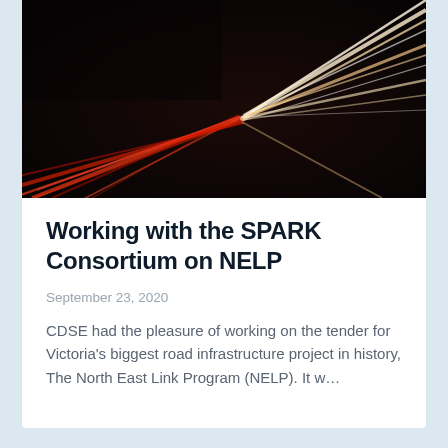[Figure (photo): Night-time long exposure photo of light trails from vehicle headlights and taillights on a road, dark background with red and white/yellow streaks radiating outward.]
Working with the SPARK Consortium on NELP
September 23, 2020
CDSE had the pleasure of working on the tender for Victoria's biggest road infrastructure project in history, The North East Link Program (NELP). It w…